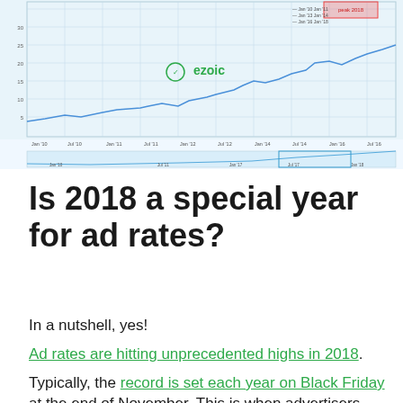[Figure (continuous-plot): Ezoic dashboard line chart showing ad rates over time with a timeline from approximately 2010 to 2018, featuring a small minimap at the bottom. The chart has a light blue background with gridlines and shows trending ad rate data. The Ezoic logo appears in the center of the chart.]
Is 2018 a special year for ad rates?
In a nutshell, yes!
Ad rates are hitting unprecedented highs in 2018.
Typically, the record is set each year on Black Friday at the end of November. This is when advertisers blast the web trying to capitalize